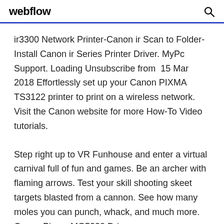webflow
ir3300 Network Printer-Canon ir Scan to Folder-Install Canon ir Series Printer Driver. MyPc Support. Loading Unsubscribe from 15 Mar 2018 Effortlessly set up your Canon PIXMA TS3122 printer to print on a wireless network. Visit the Canon website for more How-To Video tutorials.
Step right up to VR Funhouse and enter a virtual carnival full of fun and games. Be an archer with flaming arrows. Test your skill shooting skeet targets blasted from a cannon. See how many moles you can punch, whack, and much more. Canon Pixma MG5220 Drivers